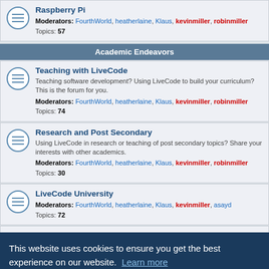Raspberry Pi — Moderators: FourthWorld, heatherlaine, Klaus, kevinmiller, robinmiller — Topics: 57
Academic Endeavors
Teaching with LiveCode — Teaching software development? Using LiveCode to build your curriculum? This is the forum for you. — Moderators: FourthWorld, heatherlaine, Klaus, kevinmiller, robinmiller — Topics: 74
Research and Post Secondary — Using LiveCode in research or teaching of post secondary topics? Share your interests with other academics. — Moderators: FourthWorld, heatherlaine, Klaus, kevinmiller, robinmiller — Topics: 30
LiveCode University — Moderators: FourthWorld, heatherlaine, Klaus, kevinmiller, asayd — Topics: 72
This website uses cookies to ensure you get the best experience on our website. Learn more
Got it!
Moderators: FourthWorld, heatherlaine, Klaus, kevinmiller, robinmiller — Topics: 266